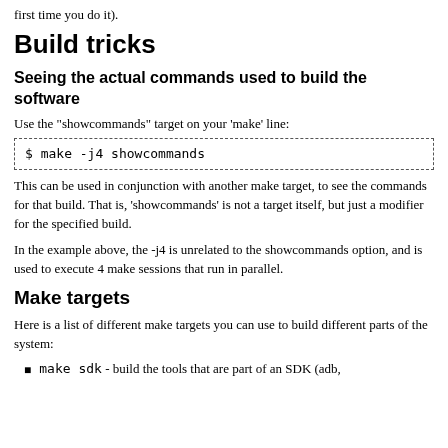first time you do it).
Build tricks
Seeing the actual commands used to build the software
Use the "showcommands" target on your 'make' line:
$ make -j4 showcommands
This can be used in conjunction with another make target, to see the commands for that build. That is, 'showcommands' is not a target itself, but just a modifier for the specified build.
In the example above, the -j4 is unrelated to the showcommands option, and is used to execute 4 make sessions that run in parallel.
Make targets
Here is a list of different make targets you can use to build different parts of the system:
make sdk - build the tools that are part of an SDK (adb,